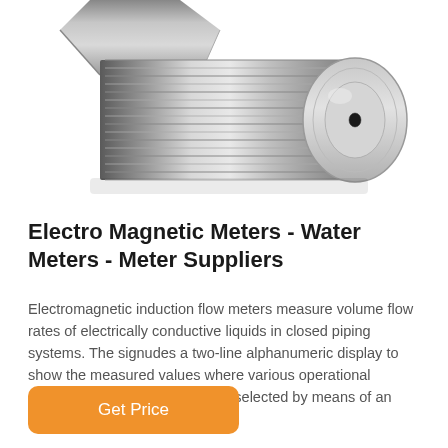[Figure (photo): Close-up photo of a stainless steel electromagnetic flow meter fitting with threaded body and flat circular end cap with a small central port, viewed at an angle against a white background.]
Electro Magnetic Meters - Water Meters - Meter Suppliers
Electromagnetic induction flow meters measure volume flow rates of electrically conductive liquids in closed piping systems. The signudes a two-line alphanumeric display to show the measured values where various operational parameters of the meter can be selected by means of an associated keyboard. Read less.
Get Price